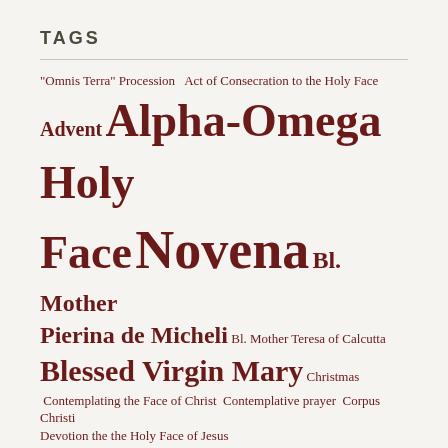TAGS
"Omnis Terra" Procession  Act of Consecration to the Holy Face  Advent  Alpha-Omega Holy Face Novena  Bl. Mother Pierina de Micheli  Bl. Mother Teresa of Calcutta  Blessed Virgin Mary  Christmas  Contemplating the Face of Christ  Contemplative prayer  Corpus Christi  Devotion the the Holy Face of Jesus  Devotion to the Holy Face  Devotion to the Holy Face of Jesus  Discalced Carmelite Nuns  Divine Mercy  Easter  Epiphany  Eucharistic Face of Christ  EWTN  Face of